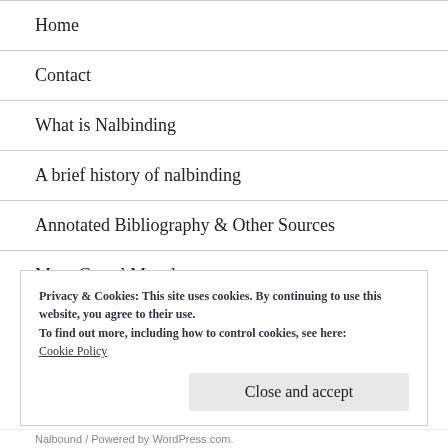Home
Contact
What is Nalbinding
A brief history of nalbinding
Annotated Bibliography & Other Sources
More Camel Muzzles
Privacy & Cookies: This site uses cookies. By continuing to use this website, you agree to their use.
To find out more, including how to control cookies, see here: Cookie Policy
Nalbound / Powered by WordPress.com.